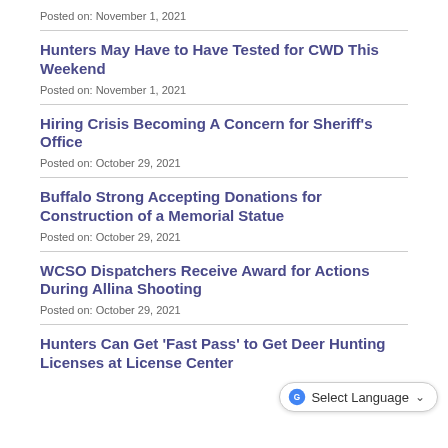Posted on: November 1, 2021
Hunters May Have to Have Tested for CWD This Weekend
Posted on: November 1, 2021
Hiring Crisis Becoming A Concern for Sheriff's Office
Posted on: October 29, 2021
Buffalo Strong Accepting Donations for Construction of a Memorial Statue
Posted on: October 29, 2021
WCSO Dispatchers Receive Award for Actions During Allina Shooting
Posted on: October 29, 2021
Hunters Can Get 'Fast Pass' to Get Deer Hunting Licenses at License Center